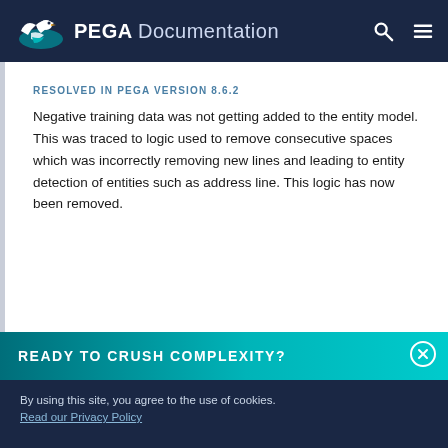PEGA Documentation
RESOLVED IN PEGA VERSION 8.6.2
Negative training data was not getting added to the entity model. This was traced to logic used to remove consecutive spaces which was incorrectly removing new lines and leading to entity detection of entities such as address line. This logic has now been removed.
READY TO CRUSH COMPLEXITY?
By using this site, you agree to the use of cookies. Read our Privacy Policy
Accept and continue  About cookies